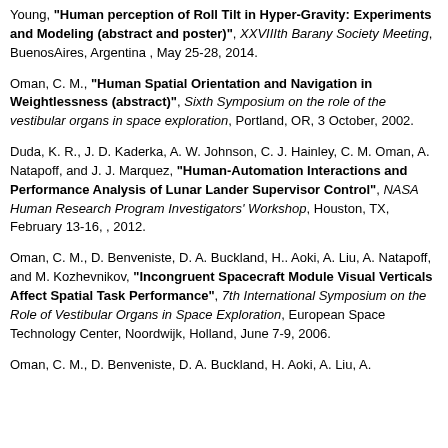Young, "Human perception of Roll Tilt in Hyper-Gravity: Experiments and Modeling (abstract and poster)", XXVIIIth Barany Society Meeting, BuenosAires, Argentina , May 25-28, 2014.
Oman, C. M., "Human Spatial Orientation and Navigation in Weightlessness (abstract)", Sixth Symposium on the role of the vestibular organs in space exploration, Portland, OR, 3 October, 2002.
Duda, K. R., J. D. Kaderka, A. W. Johnson, C. J. Hainley, C. M. Oman, A. Natapoff, and J. J. Marquez, "Human-Automation Interactions and Performance Analysis of Lunar Lander Supervisor Control", NASA Human Research Program Investigators' Workshop, Houston, TX, February 13-16, , 2012.
Oman, C. M., D. Benveniste, D. A. Buckland, H.. Aoki, A. Liu, A. Natapoff, and M. Kozhevnikov, "Incongruent Spacecraft Module Visual Verticals Affect Spatial Task Performance", 7th International Symposium on the Role of Vestibular Organs in Space Exploration, European Space Technology Center, Noordwijk, Holland, June 7-9, 2006.
Oman, C. M., D. Benveniste, D. A. Buckland, H. Aoki, A. Liu, A.